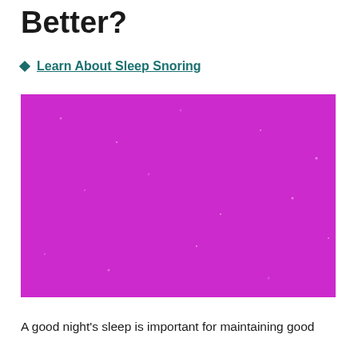Better?
Learn About Sleep Snoring
[Figure (photo): A pink/magenta glittery or textured surface filling the image area]
A good night's sleep is important for maintaining good